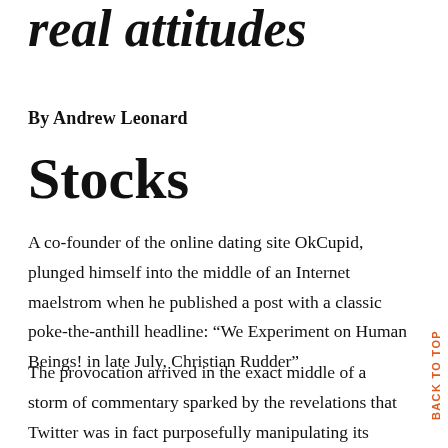real attitudes
By Andrew Leonard
Stocks
A co-founder of the online dating site OkCupid, plunged himself into the middle of an Internet maelstrom when he published a post with a classic poke-the-anthill headline: “We Experiment on Human Beings! in late July, Christian Rudder”
The provocation arrived in the exact middle of a storm of commentary sparked by the revelations that Twitter was in fact purposefully manipulating its users’ the...